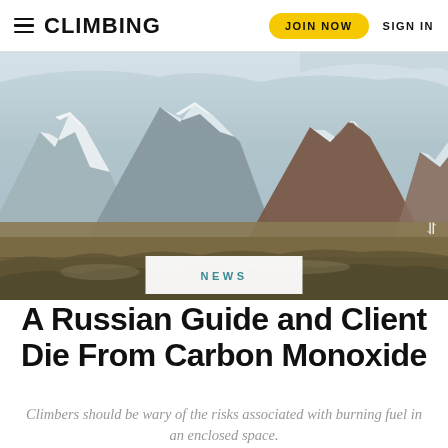CLIMBING | JOIN NOW | SIGN IN
[Figure (photo): Snow-capped mountain peaks with brown rocky terrain and a high-altitude plateau in the foreground under a partly cloudy sky.]
NEWS
A Russian Guide and Client Die From Carbon Monoxide
Climbers should be wary of the risks associated with burning fuel in an enclosed space.